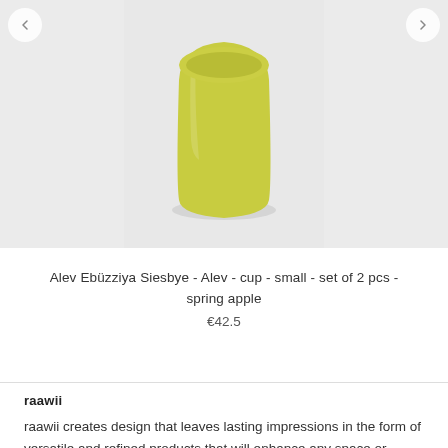[Figure (photo): A small yellow-green (spring apple colored) ceramic cup on a light gray background, viewed from a slight angle showing its rounded squat form. Navigation arrows visible on left and right sides.]
Alev Ebüzziya Siesbye - Alev - cup - small - set of 2 pcs - spring apple
€42.5
raawii
raawii creates design that leaves lasting impressions in the form of versatile and refined products that will enhance any space or setting. raawii lives and works by three ground rules: creating well-proportioned products, producing with respect for people and society and providing optimal conditions for designers. The